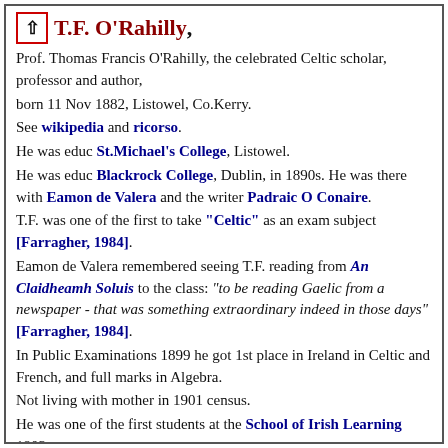T.F. O'Rahilly,
Prof. Thomas Francis O'Rahilly, the celebrated Celtic scholar, professor and author, born 11 Nov 1882, Listowel, Co.Kerry. See wikipedia and ricorso. He was educ St.Michael's College, Listowel. He was educ Blackrock College, Dublin, in 1890s. He was there with Eamon de Valera and the writer Padraic O Conaire. T.F. was one of the first to take "Celtic" as an exam subject [Farragher, 1984]. Eamon de Valera remembered seeing T.F. reading from An Claidheamh Soluis to the class: "to be reading Gaelic from a newspaper - that was something extraordinary indeed in those days" [Farragher, 1984]. In Public Examinations 1899 he got 1st place in Ireland in Celtic and French, and full marks in Algebra. Not living with mother in 1901 census. He was one of the first students at the School of Irish Learning 1903. He was educ Royal University, BA in Irish 1905. He worked as civil service clerk, Four Courts, Dublin. He worked in civil service think 1905-19. He worked in civil service with the Irish...